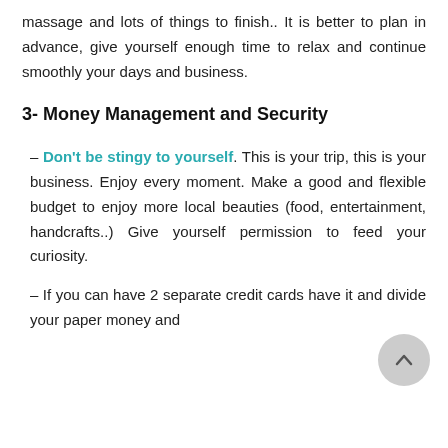massage and lots of things to finish.. It is better to plan in advance, give yourself enough time to relax and continue smoothly your days and business.
3- Money Management and Security
– Don't be stingy to yourself. This is your trip, this is your business. Enjoy every moment. Make a good and flexible budget to enjoy more local beauties (food, entertainment, handcrafts..) Give yourself permission to feed your curiosity.
– If you can have 2 separate credit cards have it and divide your paper money and